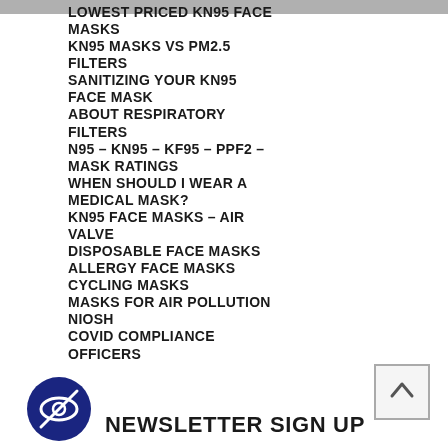LOWEST PRICED KN95 FACE MASKS
KN95 MASKS VS PM2.5 FILTERS
SANITIZING YOUR KN95 FACE MASK
ABOUT RESPIRATORY FILTERS
N95 – KN95 – KF95 – PPF2 – MASK RATINGS
WHEN SHOULD I WEAR A MEDICAL MASK?
KN95 FACE MASKS – AIR VALVE
DISPOSABLE FACE MASKS
ALLERGY FACE MASKS
CYCLING MASKS
MASKS FOR AIR POLLUTION
NIOSH
COVID COMPLIANCE OFFICERS
NEWSLETTER SIGN UP